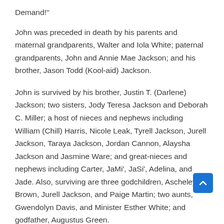Demand!"
John was preceded in death by his parents and maternal grandparents, Walter and Iola White; paternal grandparents, John and Annie Mae Jackson; and his brother, Jason Todd (Kool-aid) Jackson.
John is survived by his brother, Justin T. (Darlene) Jackson; two sisters, Jody Teresa Jackson and Deborah C. Miller; a host of nieces and nephews including William (Chill) Harris, Nicole Leak, Tyrell Jackson, Jurell Jackson, Taraya Jackson, Jordan Cannon, Alaysha Jackson and Jasmine Ware; and great-nieces and nephews including Carter, JaMi’, JaSi’, Adelina, and Jade. Also, surviving are three godchildren, Ascheley Brown, Jurell Jackson, and Paige Martin; two aunts, Gwendolyn Davis, and Minister Esther White; and godfather, Augustus Green.
Friends will be received from 4 to 8 p.m. Wednesday, September